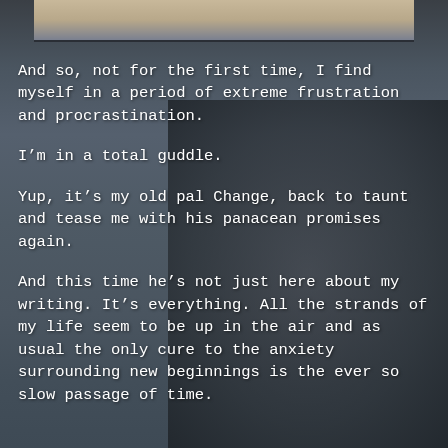[Figure (photo): A hooded figure seen from behind, sitting or standing near water. The image has a dark, moody, bluish-gray tone. A strip of the photo appears at the top of the page.]
And so, not for the first time, I find myself in a period of extreme frustration and procrastination.
I’m in a total guddle.
Yup, it’s my old pal Change, back to taunt and tease me with his panacean promises again.
And this time he’s not just here about my writing. It’s everything. All the strands of my life seem to be up in the air and as usual the only cure to the anxiety surrounding new beginnings is the ever so slow passage of time.